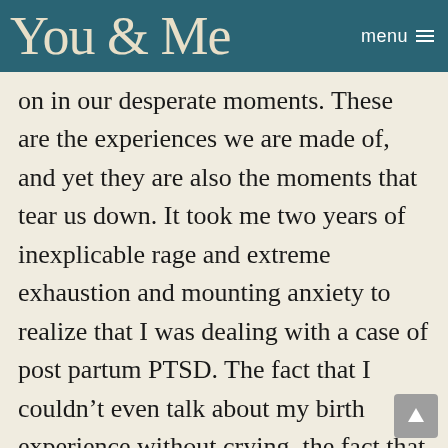You & Me   menu
on in our desperate moments. These are the experiences we are made of, and yet they are also the moments that tear us down. It took me two years of inexplicable rage and extreme exhaustion and mounting anxiety to realize that I was dealing with a case of post partum PTSD. The fact that I couldn't even talk about my birth experience without crying, the fact that I felt deeply alone even when I wasn't alone, the fact that my nerves jangled at the slightest change of wind. I lost my sense of autonomy over my own body in the birth of my daughter, I lost my faith